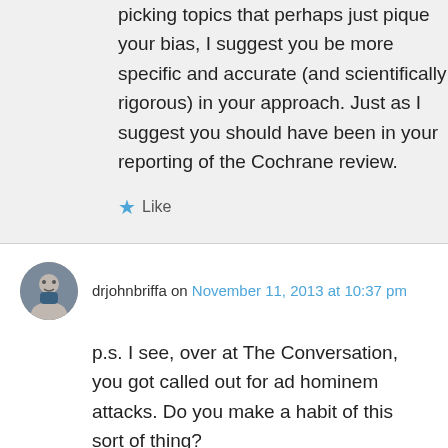picking topics that perhaps just pique your bias, I suggest you be more specific and accurate (and scientifically rigorous) in your approach. Just as I suggest you should have been in your reporting of the Cochrane review.
★ Like
drjohnbriffa on November 11, 2013 at 10:37 pm
p.s. I see, over at The Conversation, you got called out for ad hominem attacks. Do you make a habit of this sort of thing?